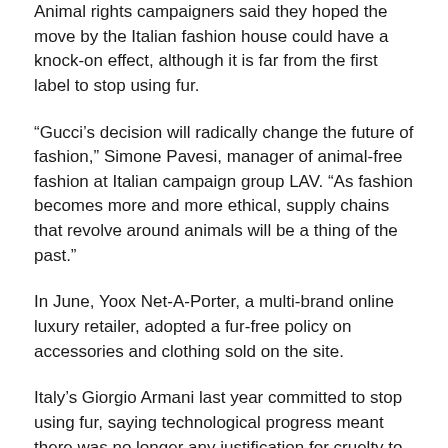Animal rights campaigners said they hoped the move by the Italian fashion house could have a knock-on effect, although it is far from the first label to stop using fur.
“Gucci’s decision will radically change the future of fashion,” Simone Pavesi, manager of animal-free fashion at Italian campaign group LAV. “As fashion becomes more and more ethical, supply chains that revolve around animals will be a thing of the past.”
In June, Yoox Net-A-Porter, a multi-brand online luxury retailer, adopted a fur-free policy on accessories and clothing sold on the site.
Italy’s Giorgio Armani last year committed to stop using fur, saying technological progress meant there was no longer any justification for cruelty to animals, while U.S. brand Calvin Klein took the plunge in 1994.